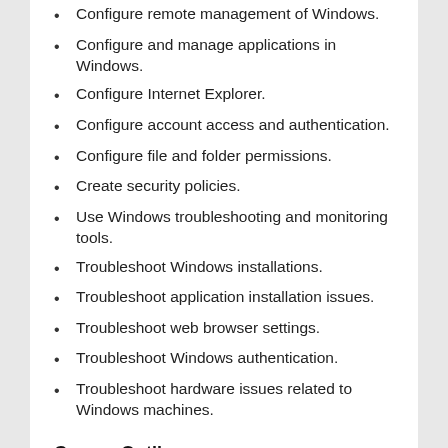Configure remote management of Windows.
Configure and manage applications in Windows.
Configure Internet Explorer.
Configure account access and authentication.
Configure file and folder permissions.
Create security policies.
Use Windows troubleshooting and monitoring tools.
Troubleshoot Windows installations.
Troubleshoot application installation issues.
Troubleshoot web browser settings.
Troubleshoot Windows authentication.
Troubleshoot hardware issues related to Windows machines.
Course Outline
Day 1: